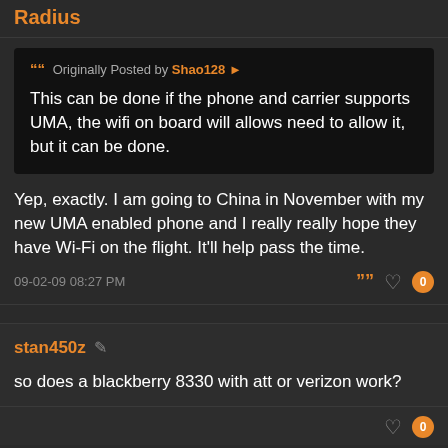Radius
Originally Posted by Shao128
This can be done if the phone and carrier supports UMA, the wifi on board will allows need to allow it, but it can be done.
Yep, exactly. I am going to China in November with my new UMA enabled phone and I really really hope they have Wi-Fi on the flight. It'll help pass the time.
09-02-09 08:27 PM
stan450z
so does a blackberry 8330 with att or verizon work?